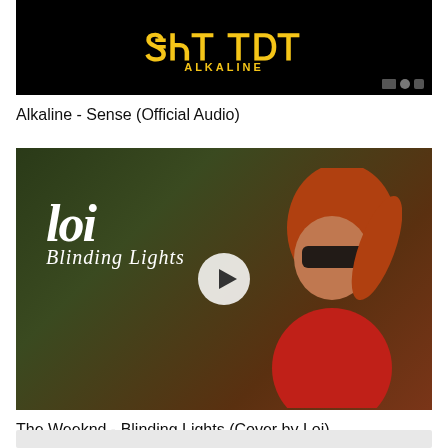[Figure (screenshot): Thumbnail for Alkaline - Sense (Official Audio): black background with yellow stylized text and ALKALINE label]
Alkaline - Sense (Official Audio)
[Figure (screenshot): Thumbnail for The Weeknd - Blinding Lights (Cover by Loi): woman with sunglasses and red jacket, Loi Blinding Lights logo, play button overlay]
The Weeknd - Blinding Lights (Cover by Loi)
[Figure (screenshot): Partial thumbnail of a third video at bottom of page]